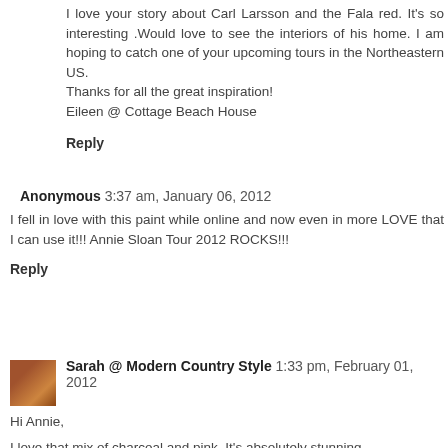I love your story about Carl Larsson and the Fala red. It's so interesting .Would love to see the interiors of his home. I am hoping to catch one of your upcoming tours in the Northeastern US.
Thanks for all the great inspiration!
Eileen @ Cottage Beach House
Reply
Anonymous 3:37 am, January 06, 2012
I fell in love with this paint while online and now even in more LOVE that I can use it!!! Annie Sloan Tour 2012 ROCKS!!!
Reply
Sarah @ Modern Country Style 1:33 pm, February 01, 2012
Hi Annie,
I love that mix of charcoal and pink. It's absolutely stunning.